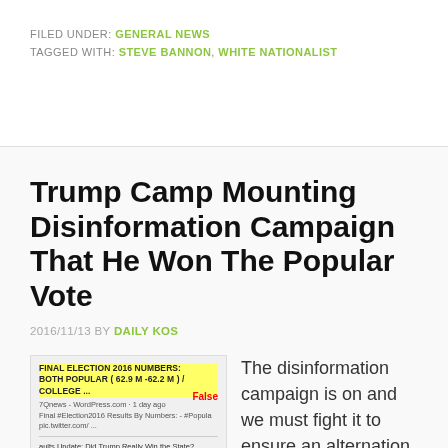FILED UNDER: GENERAL NEWS
TAGGED WITH: STEVE BANNON, WHITE NATIONALIST
Trump Camp Mounting Disinformation Campaign That He Won The Popular Vote
2016/11/13 BY DAILY KOS
[Figure (screenshot): Screenshot of a social media post showing a false claim about Final Election 2016 Numbers for both popular and college votes, labeled False]
The disinformation campaign is on and we must fight it to ensure an alternation reality that forces the masses